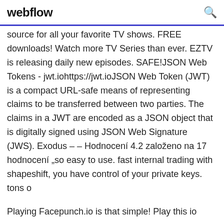webflow
source for all your favorite TV shows. FREE downloads! Watch more TV Series than ever. EZTV is releasing daily new episodes. SAFE!JSON Web Tokens - jwt.iohttps://jwt.ioJSON Web Token (JWT) is a compact URL-safe means of representing claims to be transferred between two parties. The claims in a JWT are encoded as a JSON object that is digitally signed using JSON Web Signature (JWS). Exodus – – Hodnocení 4.2 založeno na 17 hodnocení „so easy to use. fast internal trading with shapeshift, you have control of your private keys. tons o
Playing Facepunch.io is that simple! Play this io